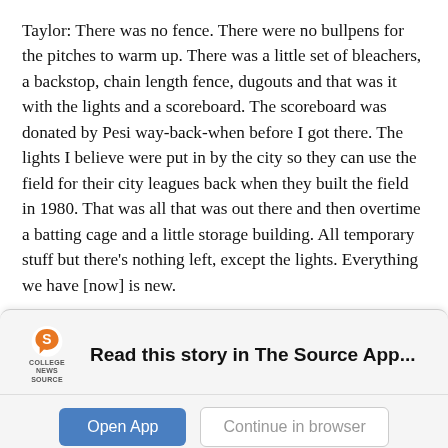Taylor: There was no fence. There were no bullpens for the pitches to warm up. There was a little set of bleachers, a backstop, chain length fence, dugouts and that was it with the lights and a scoreboard. The scoreboard was donated by Pesi way-back-when before I got there. The lights I believe were put in by the city so they can use the field for their city leagues back when they built the field in 1980. That was all that was out there and then overtime a batting cage and a little storage building. All temporary stuff but there’s nothing left, except the lights. Everything we have [now] is new.
[Figure (logo): College News Source app logo — stylized orange S icon with 'COLLEGE NEWS SOURCE' text below]
Read this story in The Source App...
Open App
Continue in browser